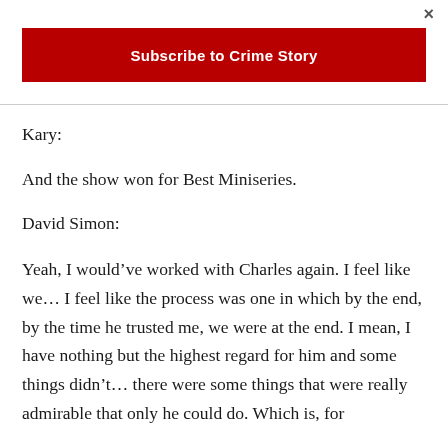[Figure (other): Close button (×) in top right corner]
[Figure (other): Red subscribe banner button with white text 'Subscribe to Crime Story']
Kary:
And the show won for Best Miniseries.
David Simon:
Yeah, I would've worked with Charles again. I feel like we… I feel like the process was one in which by the end, by the time he trusted me, we were at the end. I mean, I have nothing but the highest regard for him and some things didn't… there were some things that were really admirable that only he could do. Which is, for